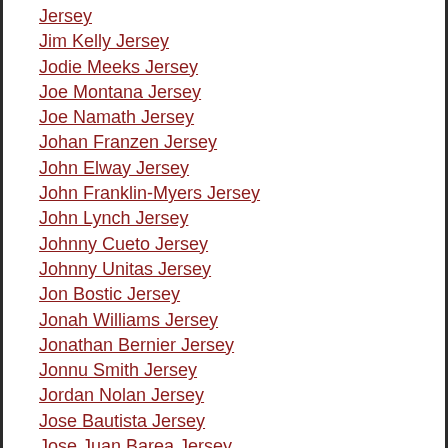Jersey
Jim Kelly Jersey
Jodie Meeks Jersey
Joe Montana Jersey
Joe Namath Jersey
Johan Franzen Jersey
John Elway Jersey
John Franklin-Myers Jersey
John Lynch Jersey
Johnny Cueto Jersey
Johnny Unitas Jersey
Jon Bostic Jersey
Jonah Williams Jersey
Jonathan Bernier Jersey
Jonnu Smith Jersey
Jordan Nolan Jersey
Jose Bautista Jersey
Jose Juan Barea Jersey
Josh Jackson Jersey
Josh Rosen Jersey
Jrue Holiday Jersey